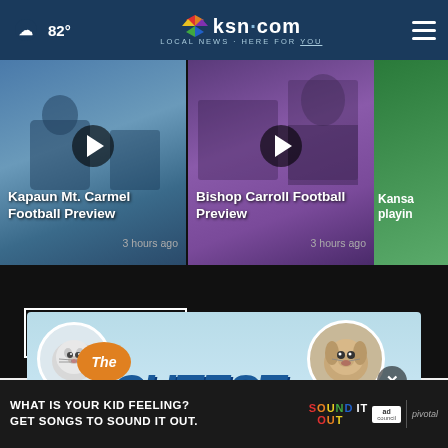☁ 82° | ksn.com LOCAL NEWS · HERE FOR YOU
[Figure (screenshot): Video thumbnail for Kapaun Mt. Carmel Football Preview with play button]
Kapaun Mt. Carmel Football Preview
3 hours ago
[Figure (screenshot): Video thumbnail for Bishop Carroll Football Preview with play button and news anchor]
Bishop Carroll Football Preview
3 hours ago
[Figure (screenshot): Partial video thumbnail for Kansas playing segment]
Kansa playin
More Videos ›
[Figure (infographic): The Cutest ad banner featuring a cat and dog in circular frames with orange The badge and blue CUTEST text]
[Figure (infographic): Bottom banner advertisement: WHAT IS YOUR KID FEELING? GET SONGS TO SOUND IT OUT. Sound It Out / Ad Council / Pivotal]